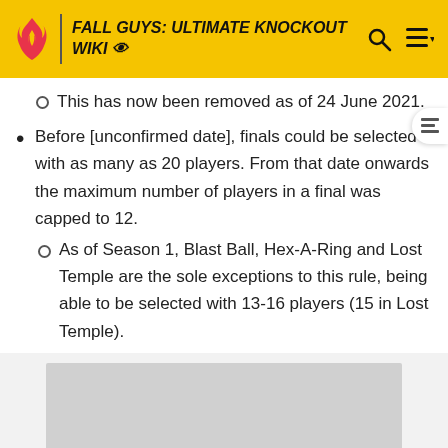FALL GUYS: ULTIMATE KNOCKOUT WIKI
This has now been removed as of 24 June 2021.
Before [unconfirmed date], finals could be selected with as many as 20 players. From that date onwards the maximum number of players in a final was capped to 12.
As of Season 1, Blast Ball, Hex-A-Ring and Lost Temple are the sole exceptions to this rule, being able to be selected with 13-16 players (15 in Lost Temple).
[Figure (other): Gray placeholder image area at the bottom of the page]